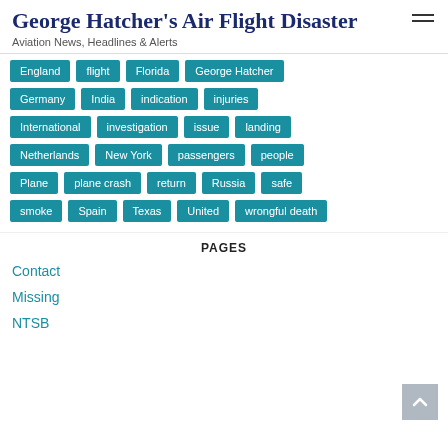George Hatcher's Air Flight Disaster
Aviation News, Headlines & Alerts
England
flight
Florida
George Hatcher
Germany
India
indication
injuries
International
investigation
issue
landing
Netherlands
New York
passengers
people
Plane
plane crash
return
Russia
safe
smoke
Spain
Texas
United
wrongful death
PAGES
Contact
Missing
NTSB